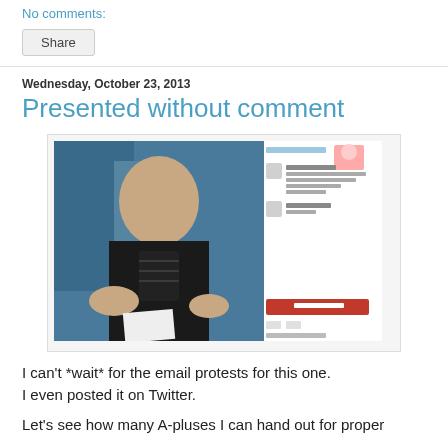No comments:
Share
Wednesday, October 23, 2013
Presented without comment
[Figure (screenshot): Screenshot of an Instagram-style post showing a young man on a train wearing a black t-shirt with a skeleton design, with a social media comment thread visible on the right side.]
I can't *wait* for the email protests for this one.
I even posted it on Twitter.

Let's see how many A-pluses I can hand out for proper